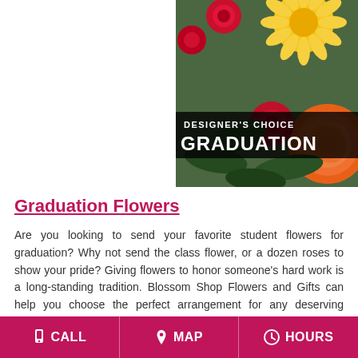[Figure (photo): Close-up photo of colorful graduation flowers including yellow gerbera daisies, red carnations, and orange roses with green leaves. Overlaid text reads 'DESIGNER'S CHOICE GRADUATION'.]
Graduation Flowers
Are you looking to send your favorite student flowers for graduation? Why not send the class flower, or a dozen roses to show your pride? Giving flowers to honor someone's hard work is a long-standing tradition. Blossom Shop Flowers and Gifts can help you choose the perfect arrangement for any deserving student, just give us a call, shop...
CALL   MAP   HOURS